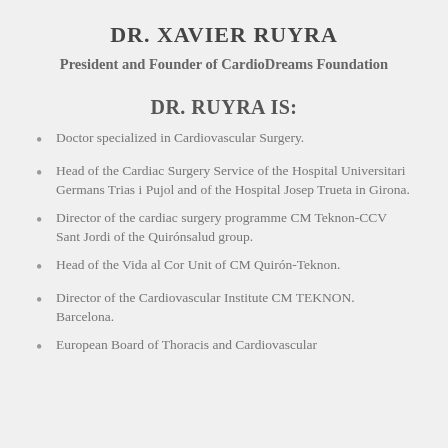DR. XAVIER RUYRA
President and Founder of CardioDreams Foundation
DR. RUYRA IS:
Doctor specialized in Cardiovascular Surgery.
Head of the Cardiac Surgery Service of the Hospital Universitari Germans Trias i Pujol and of the Hospital Josep Trueta in Girona.
Director of the cardiac surgery programme CM Teknon-CCV Sant Jordi of the Quirónsalud group.
Head of the Vida al Cor Unit of CM Quirón-Teknon.
Director of the Cardiovascular Institute CM TEKNON. Barcelona.
European Board of Thoracis and Cardiovascular...